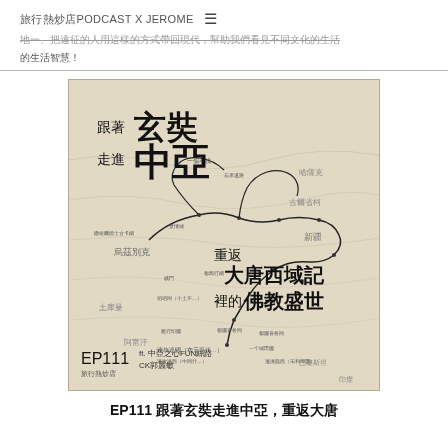旅行熱炒店PODCAST X JEROME ≡
的生活智慧！
[Figure (illustration): Book cover / podcast episode artwork showing a historical map of Central Asia with Chinese text: 跟著玄奘走進中亞 重返大唐西域記裡的佛教盛世. EP111 ft. 中亞之心FUN絲路 CK郭麗敏]
EP111 跟著玄奘走進中亞，重返大唐